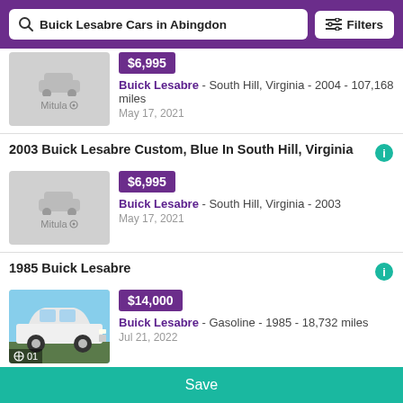Buick Lesabre Cars in Abingdon | Filters
$6,995 | Buick Lesabre - South Hill, Virginia - 2004 - 107,168 miles | May 17, 2021
2003 Buick Lesabre Custom, Blue In South Hill, Virginia
$6,995 | Buick Lesabre - South Hill, Virginia - 2003 | May 17, 2021
1985 Buick Lesabre
$14,000 | Buick Lesabre - Gasoline - 1985 - 18,732 miles | Jul 21, 2022
Save